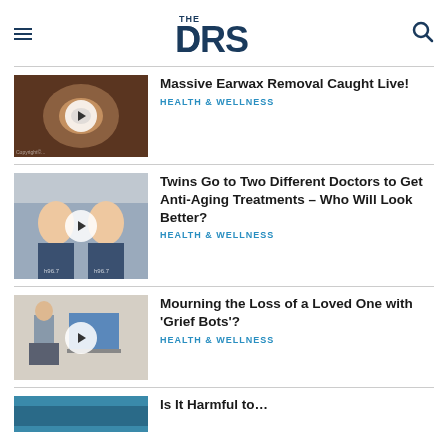THE DRS
Massive Earwax Removal Caught Live!
HEALTH & WELLNESS
[Figure (photo): Close-up video thumbnail of earwax removal procedure with play button overlay]
Twins Go to Two Different Doctors to Get Anti-Aging Treatments – Who Will Look Better?
HEALTH & WELLNESS
[Figure (photo): Two women in matching dark blue shirts standing together with play button overlay]
Mourning the Loss of a Loved One with 'Grief Bots'?
HEALTH & WELLNESS
[Figure (photo): Person sitting at a computer desk with play button overlay]
[Figure (photo): Partially visible thumbnail at bottom of page]